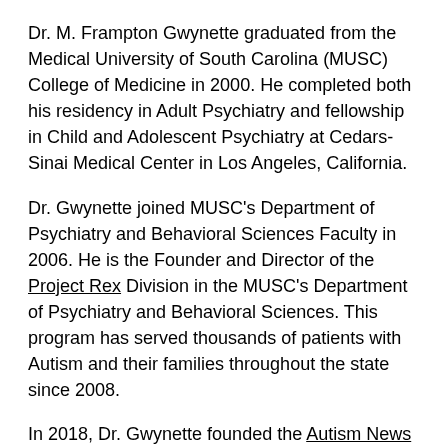Dr. M. Frampton Gwynette graduated from the Medical University of South Carolina (MUSC) College of Medicine in 2000. He completed both his residency in Adult Psychiatry and fellowship in Child and Adolescent Psychiatry at Cedars-Sinai Medical Center in Los Angeles, California.
Dr. Gwynette joined MUSC's Department of Psychiatry and Behavioral Sciences Faculty in 2006. He is the Founder and Director of the Project Rex Division in the MUSC's Department of Psychiatry and Behavioral Sciences. This program has served thousands of patients with Autism and their families throughout the state since 2008.
In 2018, Dr. Gwynette founded the Autism News Network, a social and vocational program for adults with autism. In 2021, Autism News Network received a trademark from the U.S. Patent office. In recognition of his development of the Autism News Network, Dr. Gwynette was inducted into the National Academy of Inventors in 2022.